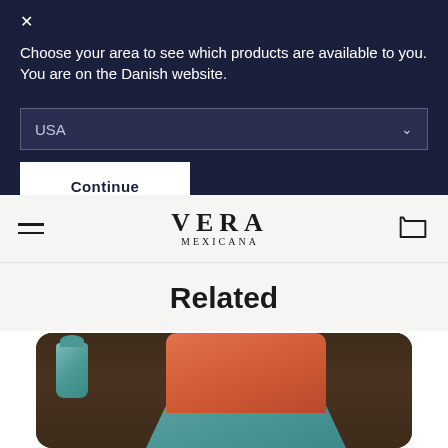Choose your area to see which products are available to you. You are on the Danish website.
USA
Continue
[Figure (logo): VERA MEXICANA brand logo with hamburger menu and cart icon in navigation bar]
Related
[Figure (photo): Woman in orange blouse and teal apron cooking, with teal pitcher visible on left, dark wooden background]